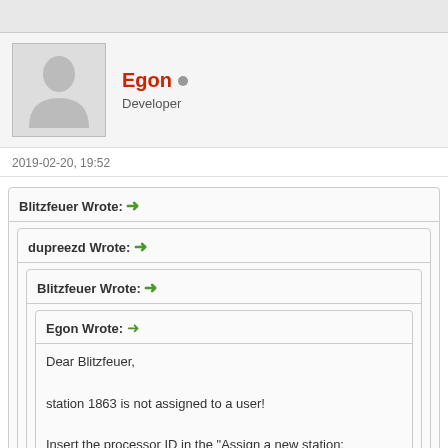[Figure (illustration): User avatar placeholder silhouette image]
Egon • Developer
2019-02-20, 19:52
Blitzfeuer Wrote: →
dupreezd Wrote: →
Blitzfeuer Wrote: →
Egon Wrote: →
Dear Blitzfeuer,

station 1863 is not assigned to a user!

Insert the processor ID in the "Assign a new station: (Processor